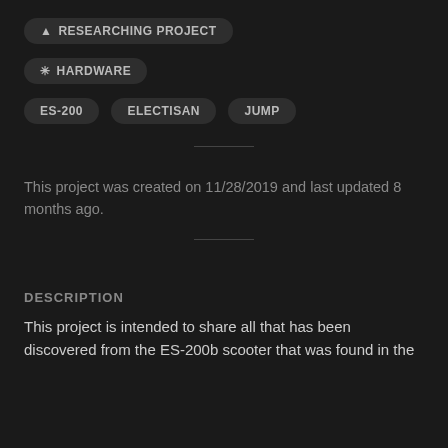🔺 RESEARCHING PROJECT
✳ HARDWARE
ES-200  ELECTISAN  JUMP
This project was created on 11/28/2019 and last updated 8 months ago.
DESCRIPTION
This project is intended to share all that has been discovered from the ES-200b scooter that was found in the